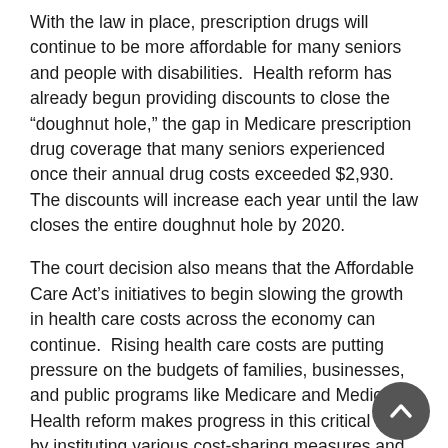With the law in place, prescription drugs will continue to be more affordable for many seniors and people with disabilities.  Health reform has already begun providing discounts to close the “doughnut hole,” the gap in Medicare prescription drug coverage that many seniors experienced once their annual drug costs exceeded $2,930.  The discounts will increase each year until the law closes the entire doughnut hole by 2020.
The court decision also means that the Affordable Care Act’s initiatives to begin slowing the growth in health care costs across the economy can continue.  Rising health care costs are putting pressure on the budgets of families, businesses, and public programs like Medicare and Medicaid.  Health reform makes progress in this critical area by instituting various cost-sharing measures and taking a number of steps to identify and implement changes in health care delivery that can lower costs while improving the quality of care.